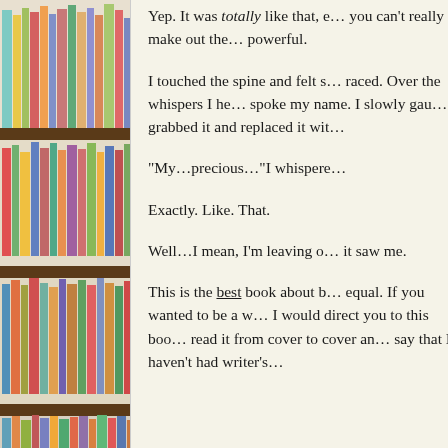[Figure (photo): Photograph of a bookshelf filled with colorful books arranged on multiple wooden shelves, viewed from the side.]
Yep. It was totally like that, e… you can't really make out the… powerful.
I touched the spine and felt s… raced. Over the whispers I he… spoke my name. I slowly gau… grabbed it and replaced it wit…
“My…precious…”I whispere…
Exactly. Like. That.
Well…I mean, I’m leaving o… it saw me.
This is the best book about b… equal. If you wanted to be a w… I would direct you to this boo… read it from cover to cover an… say that I haven’t had writer’s…